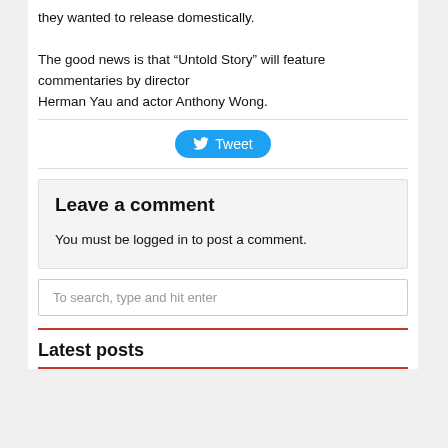they wanted to release domestically.

The good news is that “Untold Story” will feature commentaries by director Herman Yau and actor Anthony Wong.
[Figure (other): Tweet button with Twitter bird icon]
Leave a comment

You must be logged in to post a comment.
To search, type and hit enter
Latest posts